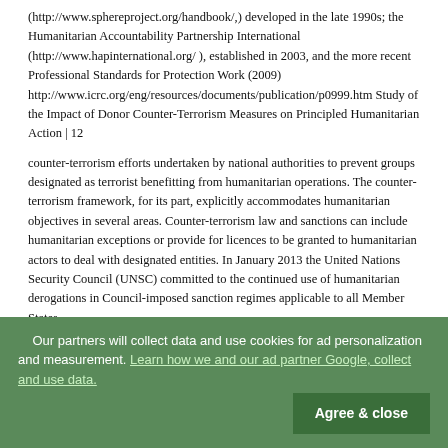(http://www.sphereproject.org/handbook/,) developed in the late 1990s; the Humanitarian Accountability Partnership International (http://www.hapinternational.org/ ), established in 2003, and the more recent Professional Standards for Protection Work (2009) http://www.icrc.org/eng/resources/documents/publication/p0999.htm Study of the Impact of Donor Counter-Terrorism Measures on Principled Humanitarian Action | 12
counter-terrorism efforts undertaken by national authorities to prevent groups designated as terrorist benefitting from humanitarian operations. The counter-terrorism framework, for its part, explicitly accommodates humanitarian objectives in several areas. Counter-terrorism law and sanctions can include humanitarian exceptions or provide for licences to be granted to humanitarian actors to deal with designated entities. In January 2013 the United Nations Security Council (UNSC) committed to the continued use of humanitarian derogations in Council-imposed sanction regimes applicable to all Member States.
Our partners will collect data and use cookies for ad personalization and measurement. Learn how we and our ad partner Google, collect and use data. [Agree & close]